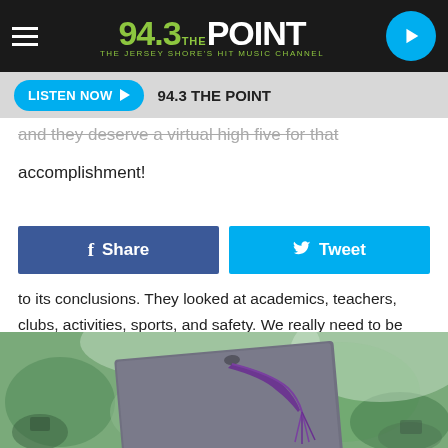94.3 THE POINT — THE JERSEY SHORE'S HIT MUSIC CHANNEL
LISTEN NOW ▶  94.3 THE POINT
and they deserve a virtual high five for that accomplishment!
Share  Tweet
to its conclusions. They looked at academics, teachers, clubs, activities, sports, and safety. We really need to be proud here, not only is New Jersey one of the best states for education, we have 14 in the top 100. Here are the top 10 public high schools in our fine state of New Jersey!
[Figure (photo): Close-up photo of a graduation cap with a purple tassel, with blurred graduates in background]